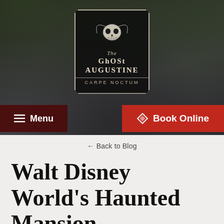[Figure (photo): Dark atmospheric header photo showing trees and a building at night with a Ghost Augustine logo/badge in the center. The logo has a skull motif and reads 'The Ghost Augustine' with 'CARPE NOCTUM' at the bottom.]
Menu
Book Online
← Back to Blog
Walt Disney World's Haunted Mansion
We deal with real haunted buildings every day on our ghost tours. We often get questions about the Amityville Horror, Exorcist, and since we are so close to Orlando we